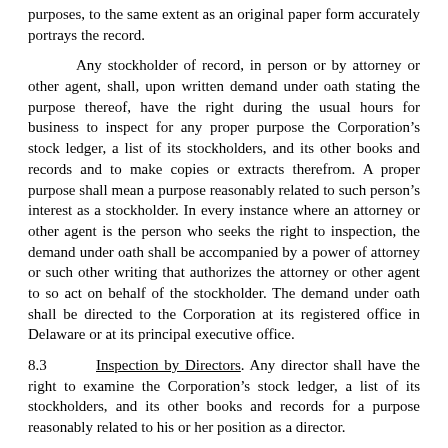purposes, to the same extent as an original paper form accurately portrays the record.
Any stockholder of record, in person or by attorney or other agent, shall, upon written demand under oath stating the purpose thereof, have the right during the usual hours for business to inspect for any proper purpose the Corporation's stock ledger, a list of its stockholders, and its other books and records and to make copies or extracts therefrom. A proper purpose shall mean a purpose reasonably related to such person's interest as a stockholder. In every instance where an attorney or other agent is the person who seeks the right to inspection, the demand under oath shall be accompanied by a power of attorney or such other writing that authorizes the attorney or other agent to so act on behalf of the stockholder. The demand under oath shall be directed to the Corporation at its registered office in Delaware or at its principal executive office.
8.3 Inspection by Directors. Any director shall have the right to examine the Corporation's stock ledger, a list of its stockholders, and its other books and records for a purpose reasonably related to his or her position as a director.
8.4 Dividends. Subject to the provisions of the Certificate of Incorporation, if any, dividends upon the capital stock of the Corporation, may be declared by the Board of